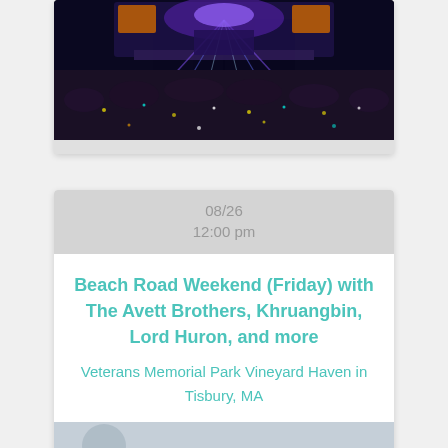[Figure (photo): Concert venue photo showing a packed crowd with stage lighting and laser beams in a large arena at night]
08/26
12:00 pm
Beach Road Weekend (Friday) with The Avett Brothers, Khruangbin, Lord Huron, and more
Veterans Memorial Park Vineyard Haven in Tisbury, MA
[Figure (photo): Partial photo at bottom of card, appears to show a person]